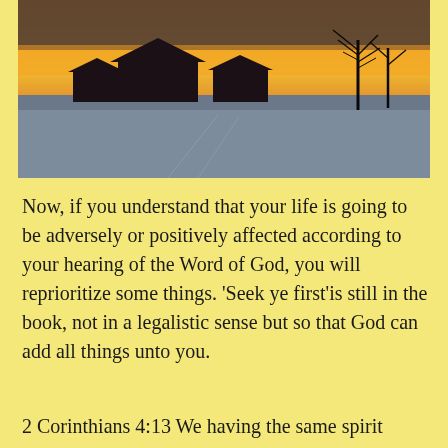[Figure (photo): Winter landscape photo showing snow-covered field with farm buildings, bare tree silhouettes against a warm orange-yellow sunset sky]
Now, if you understand that your life is going to be adversely or positively affected according to your hearing of the Word of God, you will reprioritize some things. ‘Seek ye first’is still in the book, not in a legalistic sense but so that God can add all things unto you.
2 Corinthians 4:13 We having the same spirit